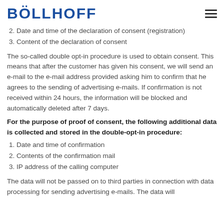BÖLLHOFF
2. Date and time of the declaration of consent (registration)
3. Content of the declaration of consent
The so-called double opt-in procedure is used to obtain consent. This means that after the customer has given his consent, we will send an e-mail to the e-mail address provided asking him to confirm that he agrees to the sending of advertising e-mails. If confirmation is not received within 24 hours, the information will be blocked and automatically deleted after 7 days.
For the purpose of proof of consent, the following additional data is collected and stored in the double-opt-in procedure:
1. Date and time of confirmation
2. Contents of the confirmation mail
3. IP address of the calling computer
The data will not be passed on to third parties in connection with data processing for sending advertising e-mails. The data will